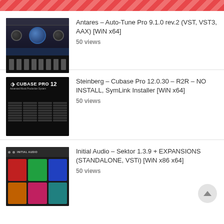[Figure (screenshot): Red diagonal stripe header bar]
Antares – Auto-Tune Pro 9.1.0 rev.2 (VST, VST3, AAX) [WiN x64]
50 views
Steinberg – Cubase Pro 12.0.30 – R2R – NO INSTALL, SymLink Installer [WiN x64]
50 views
Initial Audio – Sektor 1.3.9 + EXPANSIONS (STANDALONE, VSTi) [WiN x86 x64]
50 views